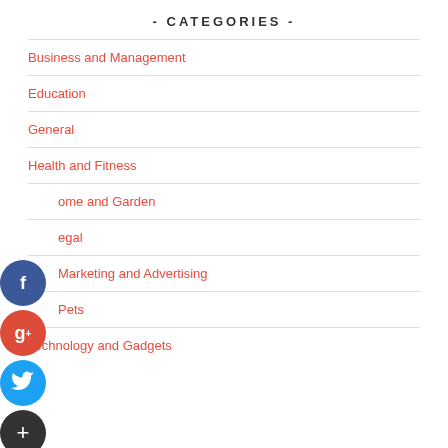- CATEGORIES -
Business and Management
Education
General
Health and Fitness
Home and Garden
Legal
Marketing and Advertising
Pets
Technology and Gadgets